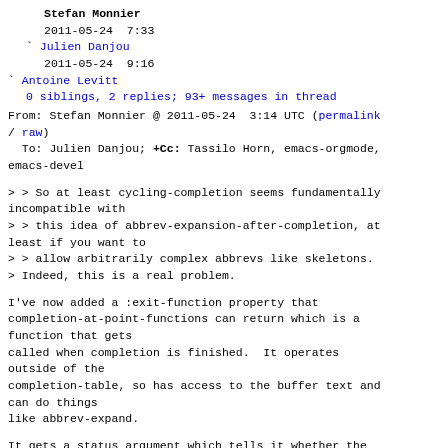Stefan Monnier
2011-05-24  7:33
Julien Danjou
2011-05-24  9:16
Antoine Levitt
0 siblings, 2 replies; 93+ messages in thread
From: Stefan Monnier @ 2011-05-24  3:14 UTC (permalink / raw)
To: Julien Danjou; +Cc: Tassilo Horn, emacs-orgmode, emacs-devel
> > So at least cycling-completion seems fundamentally incompatible with
> > this idea of abbrev-expansion-after-completion, at least if you want to
> > allow arbitrarily complex abbrevs like skeletons.
> Indeed, this is a real problem.
I've now added a :exit-function property that completion-at-point-functions can return which is a function that gets called when completion is finished.  It operates outside of the completion-table, so has access to the buffer text and can do things like abbrev-expand.
It gets a status argument which tells it whether the completion is `exact' (basically, it's valid according to the